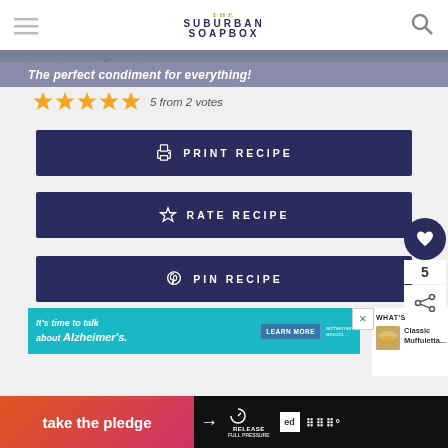THE SUBURBAN SOAPBOX
under an hour with... pickling method — The perfect condiment for everything!
5 from 2 votes
PRINT RECIPE
RATE RECIPE
PIN RECIPE
[Figure (screenshot): Heart/favorite button with count 5 and share icon on right side]
[Figure (screenshot): Advertisement: It's time to talk about Alzheimer's. LEARN MORE. alzheimers association.]
[Figure (screenshot): WHAT'S NEXT arrow — Classic Muffuletta... with bread image thumbnail]
[Figure (screenshot): Bottom bar: take the pledge arrow, RELEASE logo, ed badge, and brand logo]